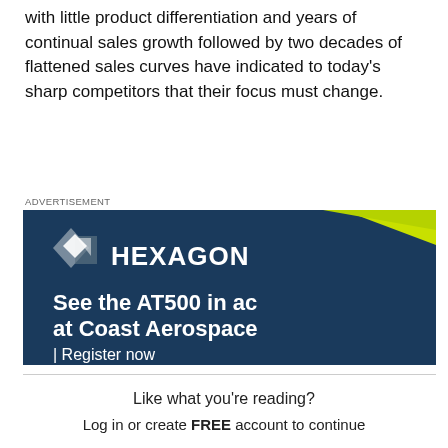with little product differentiation and years of continual sales growth followed by two decades of flattened sales curves have indicated to today's sharp competitors that their focus must change.
ADVERTISEMENT
[Figure (illustration): Hexagon advertisement banner showing the Hexagon logo with geometric diamond shape, text 'See the AT500 in ac' (action), 'at Coast Aerospace', '| Register now' on a dark navy blue background with a lime green diagonal stripe in the upper right corner.]
Like what you're reading?
Log in or create FREE account to continue